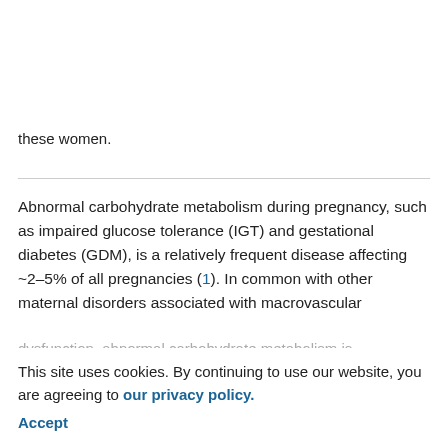these women.
Abnormal carbohydrate metabolism during pregnancy, such as impaired glucose tolerance (IGT) and gestational diabetes (GDM), is a relatively frequent disease affecting ~2–5% of all pregnancies (1). In common with other maternal disorders associated with macrovascular dysfunction, abnormal carbohydrate metabolism is associated with augmented maternal and fetal/neonatal morbidity (1,2). It has been shown that women with GDM have an increased incidence of preeclampsia (3).
This site uses cookies. By continuing to use our website, you are agreeing to our privacy policy. Accept